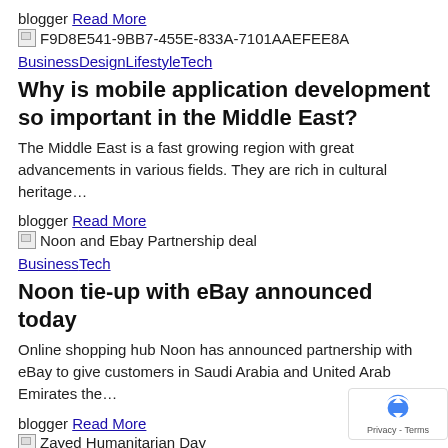blogger Read More
F9D8E541-9BB7-455E-833A-7101AAEFEE8A
BusinessDesignLifestyleTech
Why is mobile application development so important in the Middle East?
The Middle East is a fast growing region with great advancements in various fields. They are rich in cultural heritage…
blogger Read More
Noon and Ebay Partnership deal
BusinessTech
Noon tie-up with eBay announced today
Online shopping hub Noon has announced partnership with eBay to give customers in Saudi Arabia and United Arab Emirates the…
blogger Read More
Zayed Humanitarian Day